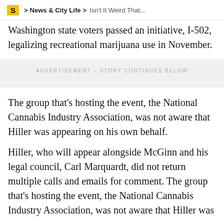S > News & City Life > Isn't It Weird That...
Washington state voters passed an initiative, I-502, legalizing recreational marijuana use in November.
[Figure (other): Advertisement placeholder - ADVERTISEMENT - STORY CONTINUES BELOW]
The group that's hosting the event, the National Cannabis Industry Association, was not aware that Hiller was appearing on his own behalf.
Hiller, who will appear alongside McGinn and his legal council, Carl Marquardt, did not return multiple calls and emails for comment. The group that's hosting the event, the National Cannabis Industry Association, was not aware that Hiller was